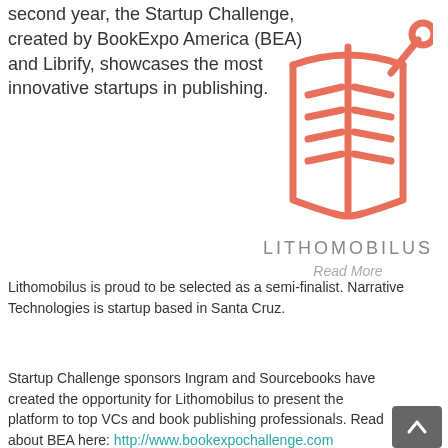second year, the Startup Challenge, created by BookExpo America (BEA) and Librify, showcases the most innovative startups in publishing.
[Figure (logo): Lithomobilus salmon/coral colored book icon logo with lines representing text and a circular element on the right]
LITHOMOBILUS
Read More
Lithomobilus is proud to be selected as a semi-finalist. Narrative Technologies is startup based in Santa Cruz.
Startup Challenge sponsors Ingram and Sourcebooks have created the opportunity for Lithomobilus to present the platform to top VCs and book publishing professionals. Read about BEA here: http://www.bookexpochallenge.com